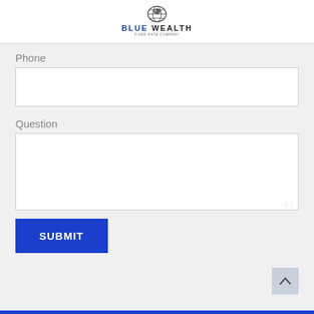[Figure (logo): Blue Wealth logo with globe icon and text BLUE WEALTH with tagline]
Phone
Question
SUBMIT